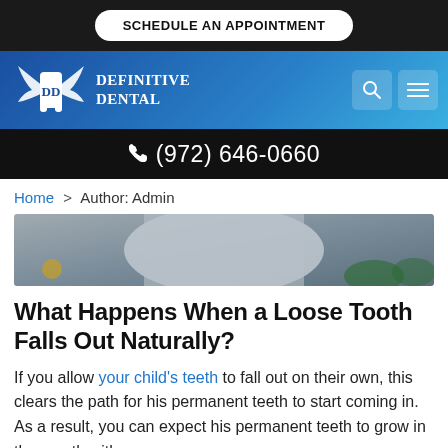SCHEDULE AN APPOINTMENT
[Figure (logo): Definitive Dental logo with wings and tooth icon on blue gradient navigation bar, with search and menu icons]
(972) 646-0660
Home > Author: Admin
[Figure (photo): Partial photo of a child outdoors, upper torso visible, blurred background with foliage]
What Happens When a Loose Tooth Falls Out Naturally?
If you allow your child's teeth to fall out on their own, this clears the path for his permanent teeth to start coming in. As a result, you can expect his permanent teeth to grow in the mouth with no